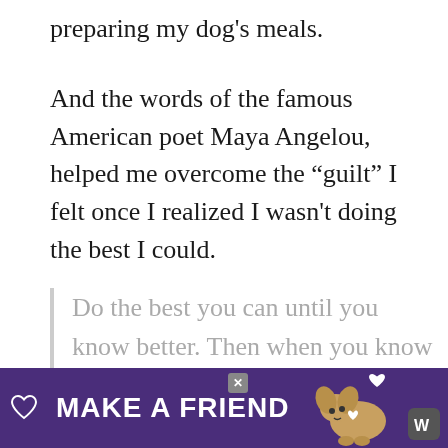preparing my dog's meals.
And the words of the famous American poet Maya Angelou, helped me overcome the “guilt” I felt once I realized I wasn't doing the best I could.
Do the best you can until you know better. Then when you know better, do better.
So today I formulate meals for my own dogs that meet the nutrient guidelines of the NRC. I'm pleased to see even more improvements in my do... idelines in...
[Figure (advertisement): Purple advertisement banner reading MAKE A FRIEND with a dog image and heart icons]